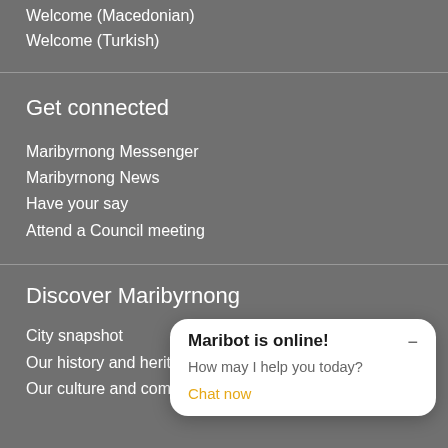Welcome (Macedonian)
Welcome (Turkish)
Get connected
Maribyrnong Messenger
Maribyrnong News
Have your say
Attend a Council meeting
Discover Maribyrnong
City snapshot
Our history and heritage
Our culture and community
[Figure (screenshot): Chatbot popup overlay with title 'Maribot is online!', subtitle 'How may I help you today?', and a 'Chat now' link in orange/yellow.]